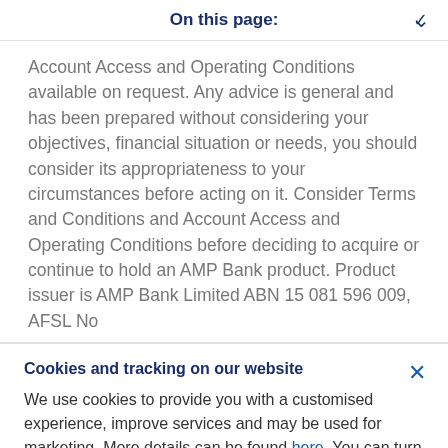On this page:
Account Access and Operating Conditions available on request. Any advice is general and has been prepared without considering your objectives, financial situation or needs, you should consider its appropriateness to your circumstances before acting on it. Consider Terms and Conditions and Account Access and Operating Conditions before deciding to acquire or continue to hold an AMP Bank product. Product issuer is AMP Bank Limited ABN 15 081 596 009, AFSL No
Cookies and tracking on our website
We use cookies to provide you with a customised experience, improve services and may be used for marketing. More details can be found here. You can turn off your cookies collection and tracking in your browser settings.